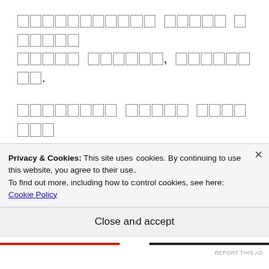[Non-Latin script text block 1 — two lines of unrecognized script characters]
[Non-Latin script text block 2 — four lines including quoted phrase with question mark]
[Non-Latin script text block 3 — two lines ending with question marks]
Privacy & Cookies: This site uses cookies. By continuing to use this website, you agree to their use.
To find out more, including how to control cookies, see here: Cookie Policy
Close and accept